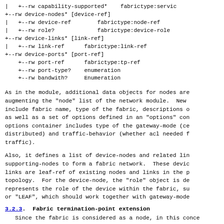| +--rw capability-supported* fabrictype:servic
+--rw device-nodes* [device-ref]
| +--rw device-ref fabrictype:node-ref
| +--rw role? fabrictype:device-role
+--rw device-links* [link-ref]
| +--rw link-ref fabrictype:link-ref
+--rw device-ports* [port-ref]
    +--rw port-ref fabrictype:tp-ref
    +--rw port-type? enumeration
    +--rw bandwith? Enumeration
As in the module, additional data objects for nodes are augmenting the "node" list of the network module. New include fabric name, type of the fabric, descriptions o as well as a set of options defined in an "options" con options container includes type of the gateway-mode (ce distributed) and traffic-behavior (whether acl needed f traffic).
Also, it defines a list of device-nodes and related lin supporting-nodes to form a fabric network. These devic links are leaf-ref of existing nodes and links in the p topology. For the device-node, the "role" object is de represents the role of the device within the fabric, su or "LEAF", which should work together with gateway-mode
3.2.3. Fabric termination-point extension
Since the fabric is considered as a node, in this conce